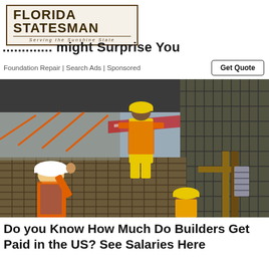[Figure (logo): Florida Statesman newspaper logo with brown border, 'Serving the Sunshine State' subtitle]
... might Surprise You
Foundation Repair | Search Ads | Sponsored
[Figure (photo): Construction workers in yellow hard hats and high-visibility vests on a construction site with rebar and scaffolding]
Do you Know How Much Do Builders Get Paid in the US? See Salaries Here